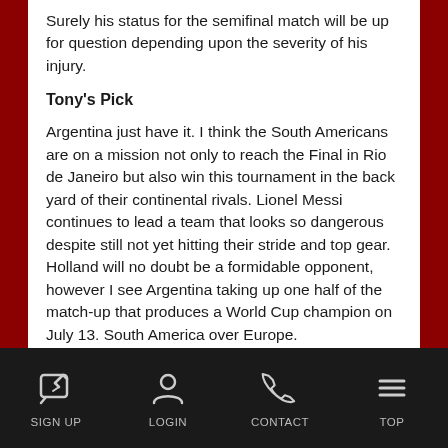Surely his status for the semifinal match will be up for question depending upon the severity of his injury.
Tony's Pick
Argentina just have it. I think the South Americans are on a mission not only to reach the Final in Rio de Janeiro but also win this tournament in the back yard of their continental rivals. Lionel Messi continues to lead a team that looks so dangerous despite still not yet hitting their stride and top gear. Holland will no doubt be a formidable opponent, however I see Argentina taking up one half of the match-up that produces a World Cup champion on July 13. South America over Europe.
Doc's Sports has full coverage of the 2014 World Cup and more articles throughout this summer's major soccer tournament. Strike Point Sports is one of the top soccer handicappers with their success on the
SIGN UP  LOGIN  CONTACT  TOP